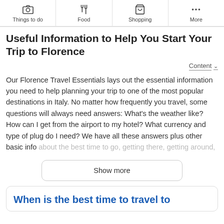Things to do | Food | Shopping | More
Useful Information to Help You Start Your Trip to Florence
Content ▾
Our Florence Travel Essentials lays out the essential information you need to help planning your trip to one of the most popular destinations in Italy. No matter how frequently you travel, some questions will always need answers: What's the weather like? How can I get from the airport to my hotel? What currency and type of plug do I need? We have all these answers plus other basic info about the best time to go, getting there, getting around,
Show more
When is the best time to travel to